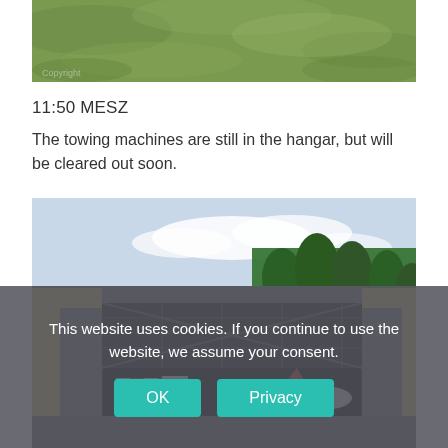[Figure (photo): Aerial or close-up photo of a grass airfield surface, green grass texture filling the frame.]
11:50 MESZ
The towing machines are still in the hangar, but will be cleared out soon.
[Figure (photo): Photo of an aviation hangar with large sliding doors open, showing towing machines and aircraft inside. A yellow building with a grey metal sliding door structure. A checkered red/white vehicle with a 'C' sign is visible inside.]
This website uses cookies. If you continue to use the website, we assume your consent.